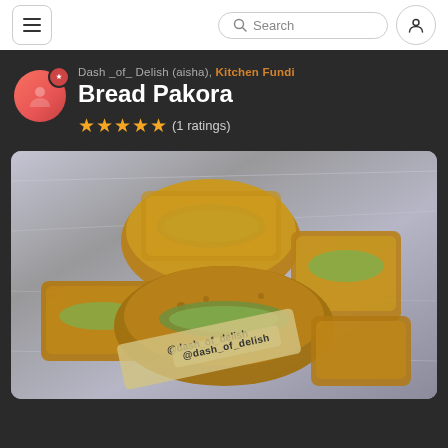Navigation bar with hamburger menu, search box, and account button
Dash_of_Delish (aisha), Kitchen Fundi
Bread Pakora
★★★★★ (1 ratings)
[Figure (photo): Close-up photo of bread pakora pieces stacked on silver foil, showing golden-brown battered bread with green vegetable filling visible in cross-section, with watermark @dash_of_delish]